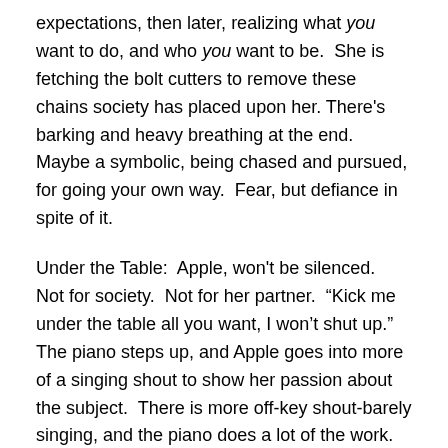expectations, then later, realizing what you want to do, and who you want to be.  She is fetching the bolt cutters to remove these chains society has placed upon her. There's barking and heavy breathing at the end.  Maybe a symbolic, being chased and pursued, for going your own way.  Fear, but defiance in spite of it.
Under the Table:  Apple, won't be silenced.  Not for society.  Not for her partner.  "Kick me under the table all you want, I won't shut up."  The piano steps up, and Apple goes into more of a singing shout to show her passion about the subject.  There is more off-key shout-barely singing, and the piano does a lot of the work.
Relay:  The beat is consistent with the last songs, moving effortlessly through the album's theme.  A lot of production.  Many repetitions of the phrase.  Fiona